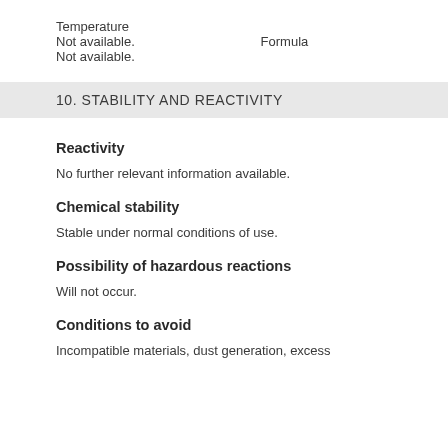Temperature
Not available.
Formula
Not available.
10. STABILITY AND REACTIVITY
Reactivity
No further relevant information available.
Chemical stability
Stable under normal conditions of use.
Possibility of hazardous reactions
Will not occur.
Conditions to avoid
Incompatible materials, dust generation, excess